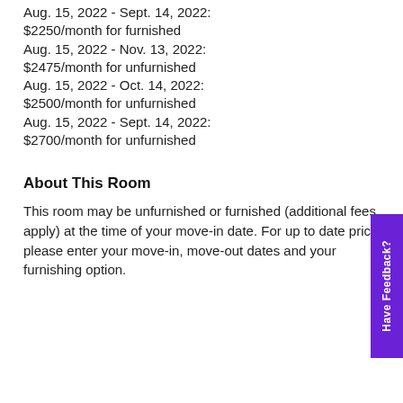Aug. 15, 2022 - Sept. 14, 2022: $2250/month for furnished
Aug. 15, 2022 - Nov. 13, 2022: $2475/month for unfurnished
Aug. 15, 2022 - Oct. 14, 2022: $2500/month for unfurnished
Aug. 15, 2022 - Sept. 14, 2022: $2700/month for unfurnished
About This Room
This room may be unfurnished or furnished (additional fees apply) at the time of your move-in date. For up to date prices, please enter your move-in, move-out dates and your furnishing option.